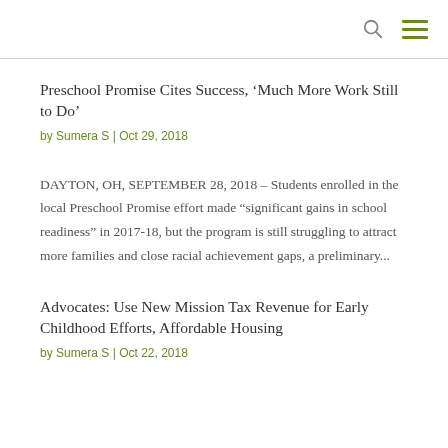Preschool Promise Cites Success, ‘Much More Work Still to Do’
by Sumera S | Oct 29, 2018
DAYTON, OH, SEPTEMBER 28, 2018 – Students enrolled in the local Preschool Promise effort made “significant gains in school readiness” in 2017-18, but the program is still struggling to attract more families and close racial achievement gaps, a preliminary...
Advocates: Use New Mission Tax Revenue for Early Childhood Efforts, Affordable Housing
by Sumera S | Oct 22, 2018